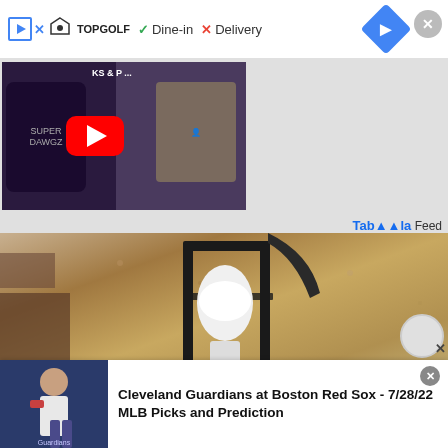[Figure (screenshot): Advertisement bar with Topgolf logo, Dine-in checkmark, Delivery X, navigation diamond icon, and close button]
[Figure (screenshot): YouTube video thumbnail showing sports content with play button overlay and person in background]
Taboola Feed
[Figure (photo): Photo of a security camera light bulb mounted inside a black lantern-style outdoor wall light fixture against a textured beige stucco wall]
[Figure (screenshot): Bottom advertisement strip: Cleveland Guardians at Boston Red Sox - 7/28/22 MLB Picks and Prediction with baseball player image]